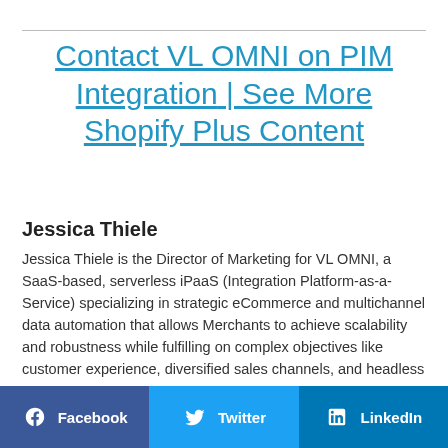Contact VL OMNI on PIM Integration | See More Shopify Plus Content
Jessica Thiele
Jessica Thiele is the Director of Marketing for VL OMNI, a SaaS-based, serverless iPaaS (Integration Platform-as-a-Service) specializing in strategic eCommerce and multichannel data automation that allows Merchants to achieve scalability and robustness while fulfilling on complex objectives like customer experience, diversified sales channels, and headless commerce.